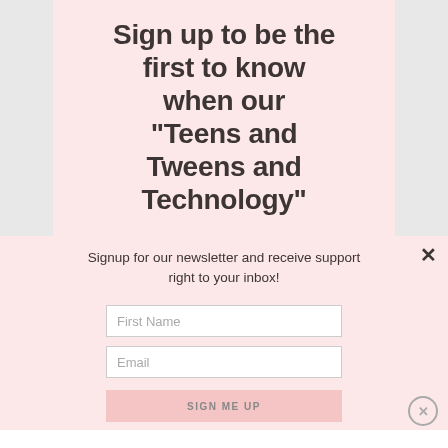Sign up to be the first to know when our "Teens and Tweens and Technology"
Signup for our newsletter and receive support right to your inbox!